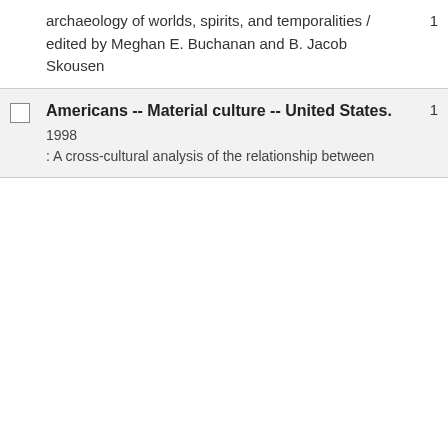archaeology of worlds, spirits, and temporalities / edited by Meghan E. Buchanan and B. Jacob Skousen
1
Americans -- Material culture -- United States.
1998
: A cross-cultural analysis of the relationship between
1